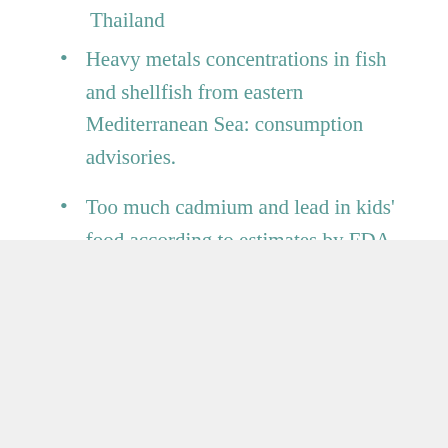Thailand
Heavy metals concentrations in fish and shellfish from eastern Mediterranean Sea: consumption advisories.
Too much cadmium and lead in kids' food according to estimates by FDA